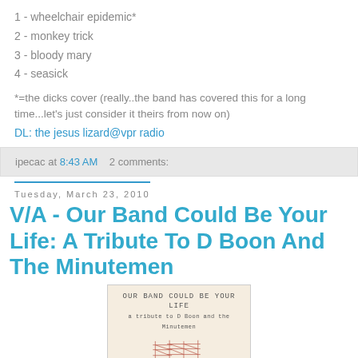1 - wheelchair epidemic*
2 - monkey trick
3 - bloody mary
4 - seasick
*=the dicks cover (really..the band has covered this for a long time...let's just consider it theirs from now on)
DL: the jesus lizard@vpr radio
ipecac at 8:43 AM    2 comments:
Tuesday, March 23, 2010
V/A - Our Band Could Be Your Life: A Tribute To D Boon And The Minutemen
[Figure (illustration): Album cover for 'Our Band Could Be Your Life: A Tribute to D Boon and the Minutemen' showing a sketch/drawing on a beige/cream background with text at top and a red architectural or structural sketch below]